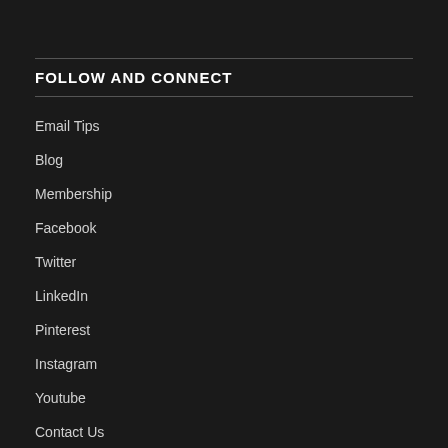FOLLOW AND CONNECT
Email Tips
Blog
Membership
Facebook
Twitter
LinkedIn
Pinterest
Instagram
Youtube
Contact Us